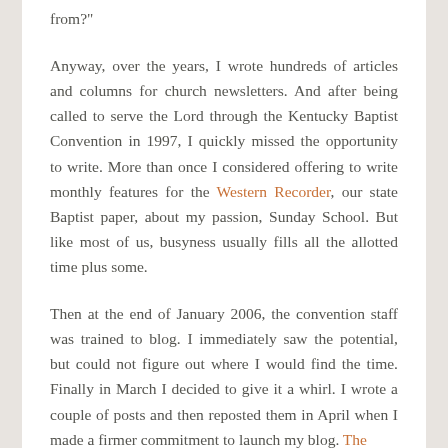from?"
Anyway, over the years, I wrote hundreds of articles and columns for church newsletters. And after being called to serve the Lord through the Kentucky Baptist Convention in 1997, I quickly missed the opportunity to write. More than once I considered offering to write monthly features for the Western Recorder, our state Baptist paper, about my passion, Sunday School. But like most of us, busyness usually fills all the allotted time plus some.
Then at the end of January 2006, the convention staff was trained to blog. I immediately saw the potential, but could not figure out where I would find the time. Finally in March I decided to give it a whirl. I wrote a couple of posts and then reposted them in April when I made a firmer commitment to launch my blog. The